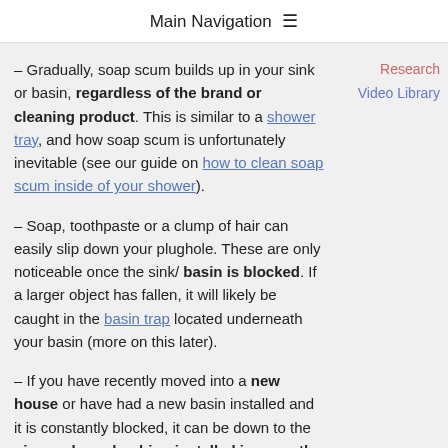Main Navigation ≡
Research
Video Library
– Gradually, soap scum builds up in your sink or basin, regardless of the brand or cleaning product. This is similar to a shower tray, and how soap scum is unfortunately inevitable (see our guide on how to clean soap scum inside of your shower).
– Soap, toothpaste or a clump of hair can easily slip down your plughole. These are only noticeable once the sink/ basin is blocked. If a larger object has fallen, it will likely be caught in the basin trap located underneath your basin (more on this later).
– If you have recently moved into a new house or have had a new basin installed and it is constantly blocked, it can be down to the pipework or plumbing installed incorrectly. As the water flow is gravity dependent, the pipework is also gravity dependent, so if the pipework has been installed at an incorrect angle, a blockage will occur. If this is the case, we strongly advise contacting a professional plumber. At Showers to You, we have